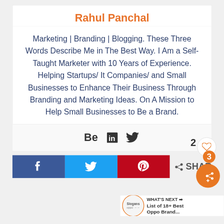Rahul Panchal
Marketing | Branding | Blogging. These Three Words Describe Me in The Best Way. I Am a Self-Taught Marketer with 10 Years of Experience. Helping Startups/ It Companies/ and Small Businesses to Enhance Their Business Through Branding and Marketing Ideas. On A Mission to Help Small Businesses to Be a Brand.
[Figure (infographic): Social media icons: Behance, LinkedIn, Twitter]
[Figure (infographic): Share buttons: Facebook, Twitter, Pinterest share bar with share count (2 shares, 3), heart/like circle, orange share circle button, and 'WHAT'S NEXT: List of 18+ Best Oppo Brand...' promo panel]